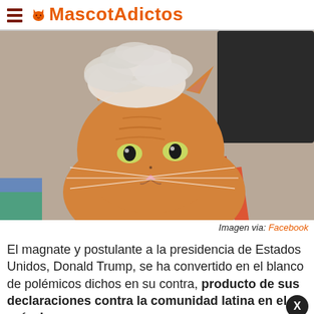MascotAdictos
[Figure (photo): Orange tabby cat with fluffy white fur on top of its head resembling a pompadour hairstyle, looking directly at the camera. Indoor setting visible in background.]
Imagen via: Facebook
El magnate y postulante a la presidencia de Estados Unidos, Donald Trump, se ha convertido en el blanco de polémicos dichos en su contra, producto de sus declaraciones contra la comunidad latina en el país de